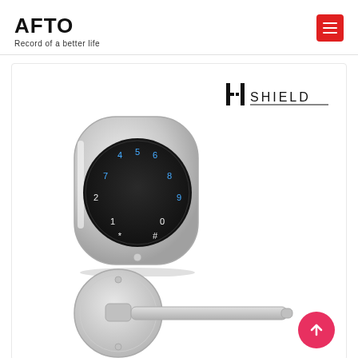AFTO – Record of a better life
[Figure (screenshot): Product page showing HShield brand smart door lock keypad (round black touchpad with numeric keys in silver casing) and a door handle lever below, on white background with HShield logo in top right.]